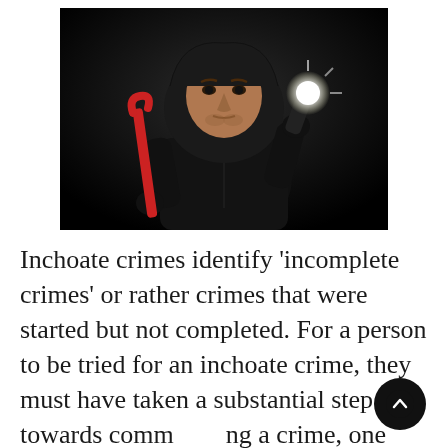[Figure (photo): A man dressed in black hoodie and gloves holding a red crowbar in one hand and a bright flashlight in the other, posed against a dark background, resembling a burglar.]
Inchoate crimes identify 'incomplete crimes' or rather crimes that were started but not completed. For a person to be tried for an inchoate crime, they must have taken a substantial step towards committing a crime, one which establishes their intent and commitment to commit